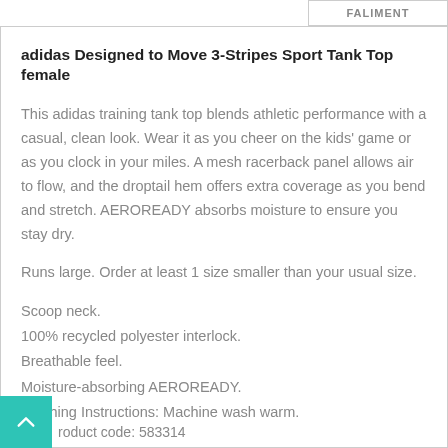adidas Designed to Move 3-Stripes Sport Tank Top female
This adidas training tank top blends athletic performance with a casual, clean look. Wear it as you cheer on the kids' game or as you clock in your miles. A mesh racerback panel allows air to flow, and the droptail hem offers extra coverage as you bend and stretch. AEROREADY absorbs moisture to ensure you stay dry.
Runs large. Order at least 1 size smaller than your usual size.
Scoop neck.
100% recycled polyester interlock.
Breathable feel.
Moisture-absorbing AEROREADY.
Washing Instructions: Machine wash warm.
Product code: 583314